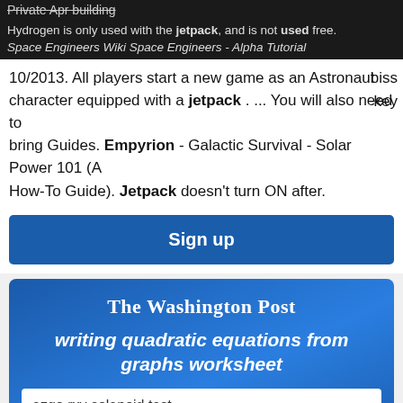Private Apr building
Hydrogen is only used with the jetpack, and is not used free. Space Engineers Wiki Space Engineers - Alpha Tutorial
10/2013. All players start a new game as an Astronaut character equipped with a jetpack . ... You will also need to bring Guides. Empyrion - Galactic Survival - Solar Power 101 (A How-To Guide). Jetpack doesn't turn ON after.
Sign up
[Figure (screenshot): Washington Post branded card with headline 'writing quadratic equations from graphs worksheet', a search box with text 'ezgo rxv solenoid test', and footer text 'private label brandy']